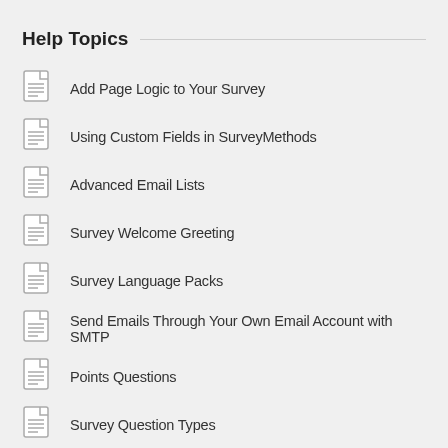Help Topics
Add Page Logic to Your Survey
Using Custom Fields in SurveyMethods
Advanced Email Lists
Survey Welcome Greeting
Survey Language Packs
Send Emails Through Your Own Email Account with SMTP
Points Questions
Survey Question Types
Results Summary Report
Move Surveys to Another SurveyMethods Account